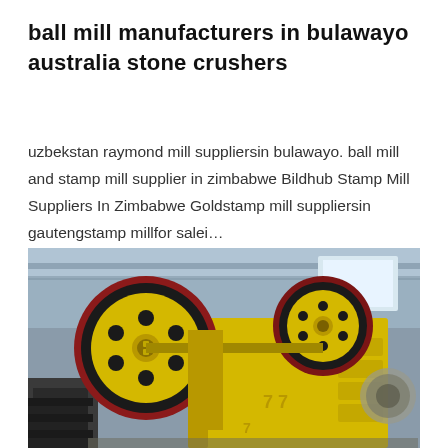ball mill manufacturers in bulawayo australia stone crushers
uzbekstan raymond mill suppliersin bulawayo. ball mill and stamp mill supplier in zimbabwe Bildhub Stamp Mill Suppliers In Zimbabwe Goldstamp mill suppliersin gautengstamp millfor salei…
[Figure (photo): Photograph of a large yellow industrial jaw crusher machine with two large black and red flywheels on top, situated inside a factory/warehouse setting. The machine is painted yellow with heavy metal construction.]